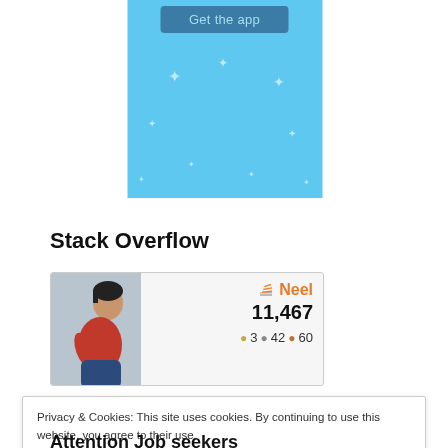[Figure (screenshot): Blue app advertisement banner with 'Get the app' button and sparkle decorations, with 'REPORT THIS AD' text below]
Stack Overflow
[Figure (infographic): Stack Overflow user profile card for 'Neel' showing reputation score 11,467 with badges: 3 gold, 42 silver, 60 bronze, and a profile photo]
Privacy & Cookies: This site uses cookies. By continuing to use this website, you agree to their use. To find out more, including how to control cookies, see here: Cookie Policy
Close and accept
Attention Job seekers